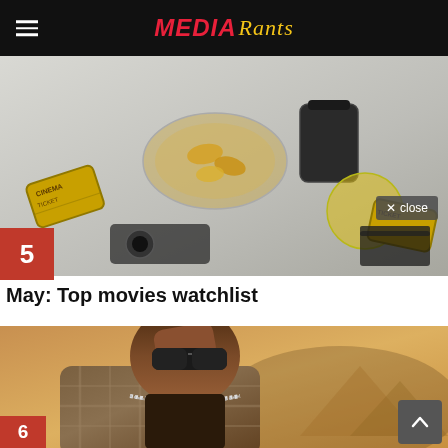MEDIA Rants
[Figure (photo): Overhead flat-lay of cinema snacks: popcorn/chips bowl, dark drink cup, yellow drink, movie ticket stubs, and camera gear on a light marble surface]
5
× close
May: Top movies watchlist
[Figure (photo): Close-up portrait of a Black man in a plaid jacket, sunglasses, and chain necklace, hand raised to shield eyes, sandy desert background]
6